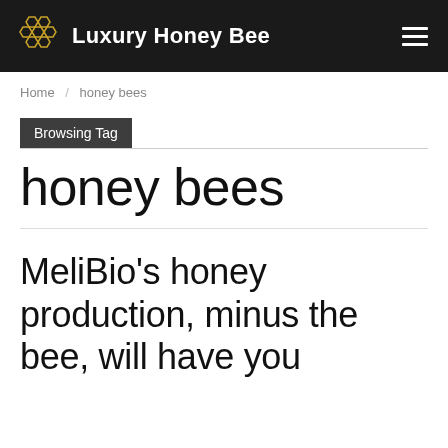Luxury Honey Bee
Home / honey bees
Browsing Tag
honey bees
MeliBio's honey production, minus the bee, will have you